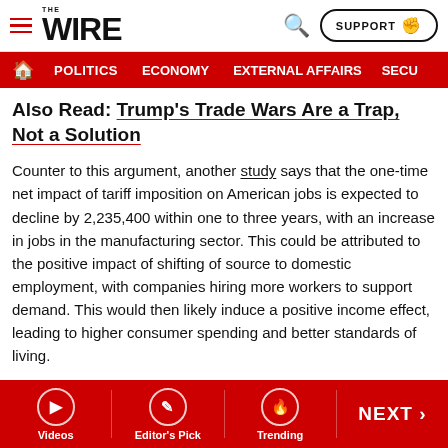THE WIRE — SUPPORT
POLITICS | ECONOMY | EXTERNAL AFFAIRS | SECU…
Also Read: Trump's Trade Wars Are a Trap, Not a Solution
Counter to this argument, another study says that the one-time net impact of tariff imposition on American jobs is expected to decline by 2,235,400 within one to three years, with an increase in jobs in the manufacturing sector. This could be attributed to the positive impact of shifting of source to domestic employment, with companies hiring more workers to support demand. This would then likely induce a positive income effect, leading to higher consumer spending and better standards of living.
Clearly, the economic impact of the US-China trade war is
Videos | Editor's Pick | Trending | NEXT >